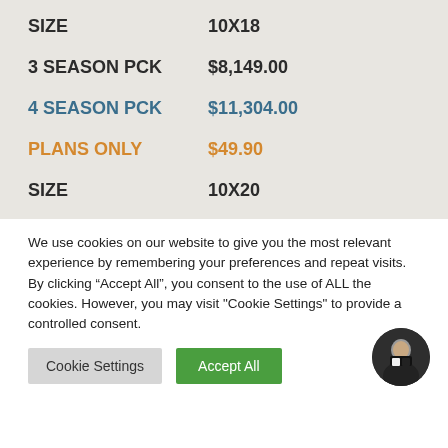|  |  |
| --- | --- |
| SIZE | 10X18 |
| 3 SEASON PCK | $8,149.00 |
| 4 SEASON PCK | $11,304.00 |
| PLANS ONLY | $49.90 |
| SIZE | 10X20 |
We use cookies on our website to give you the most relevant experience by remembering your preferences and repeat visits. By clicking “Accept All”, you consent to the use of ALL the cookies. However, you may visit "Cookie Settings" to provide a controlled consent.
Cookie Settings   Accept All